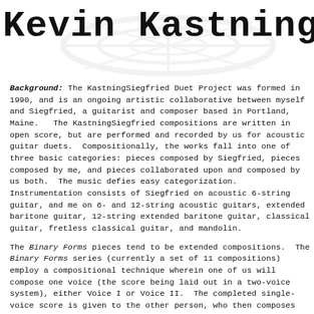Kevin Kastning
Background: The KastningSiegfried Duet Project was formed in 1990, and is an ongoing artistic collaborative between myself and Siegfried, a guitarist and composer based in Portland, Maine.  The KastningSiegfried compositions are written in open score, but are performed and recorded by us for acoustic guitar duets.  Compositionally, the works fall into one of three basic categories: pieces composed by Siegfried, pieces composed by me, and pieces collaborated upon and composed by us both.  The music defies easy categorization.  Instrumentation consists of Siegfried on acoustic 6-string guitar, and me on 6- and 12-string acoustic guitars, extended baritone guitar, 12-string extended baritone guitar, classical guitar, fretless classical guitar, and mandolin.
The Binary Forms pieces tend to be extended compositions.  The Binary Forms series (currently a set of 11 compositions) employ a compositional technique wherein one of us will compose one voice (the score being laid out in a two-voice system), either Voice I or Voice II.  The completed single-voice score is given to the other person, who then composes the part of the unfinished voice.  Usually, no predetermined guidelines have been specified for the unfinished voice, but there have been pieces wherein the first person has specified certain harmonic or structural elements as a kind of palette for the second person to use when composing their part.  This compositional method has produced some very